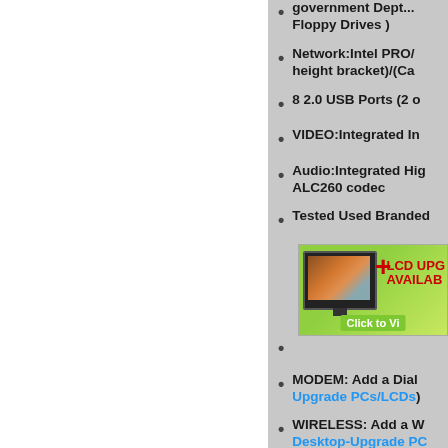government Dept... Floppy Drives )
Network:Intel PRO/... height bracket)/(Ca...
8 2.0 USB Ports (2 o...
VIDEO:Integrated In...
Audio:Integrated Hig... ALC260 codec
Tested Used Branded...
[Figure (illustration): LCD monitor upgrade advertisement banner with a monitor displaying a clownfish, a red plus sign, and text 'LCD UPGRADE AVAILABLE Click to Vi...']
MODEM: Add a Dial... Upgrade PCs/LCDs)
WIRELESS: Add a W... Desktop-Upgrade PC...
What's Included :DE...